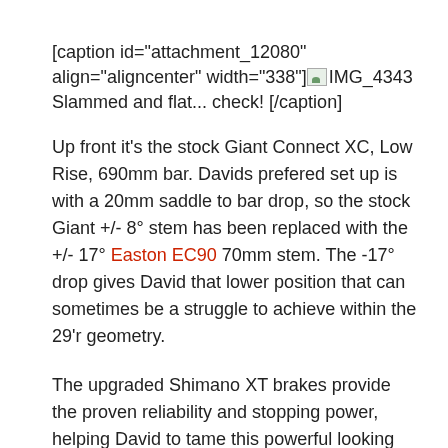[caption id="attachment_12080" align="aligncenter" width="338"] IMG_4343 Slammed and flat... check! [/caption]
Up front it's the stock Giant Connect XC, Low Rise, 690mm bar. Davids prefered set up is with a 20mm saddle to bar drop, so the stock Giant +/- 8° stem has been replaced with the +/- 17° Easton EC90 70mm stem. The -17° drop gives David that lower position that can sometimes be a struggle to achieve within the 29'r geometry.
The upgraded Shimano XT brakes provide the proven reliability and stopping power, helping David to tame this powerful looking Giant XTC Advanced.
IMG_4338